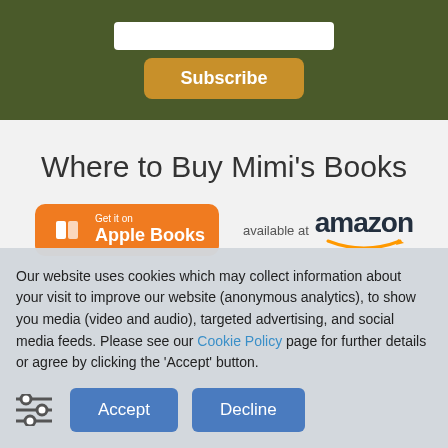[Figure (screenshot): Subscribe button and input field on dark olive green background]
Where to Buy Mimi's Books
[Figure (logo): Get it on Apple Books badge (orange) and Available at Amazon badge side by side]
Our website uses cookies which may collect information about your visit to improve our website (anonymous analytics), to show you media (video and audio), targeted advertising, and social media feeds. Please see our Cookie Policy page for further details or agree by clicking the 'Accept' button.
[Figure (other): Settings/filter icon with horizontal sliders]
Accept
Decline